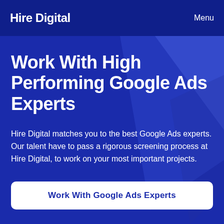Hire Digital  Menu
Work With High Performing Google Ads Experts
Hire Digital matches you to the best Google Ads experts. Our talent have to pass a rigorous screening process at Hire Digital, to work on your most important projects.
Work With Google Ads Experts